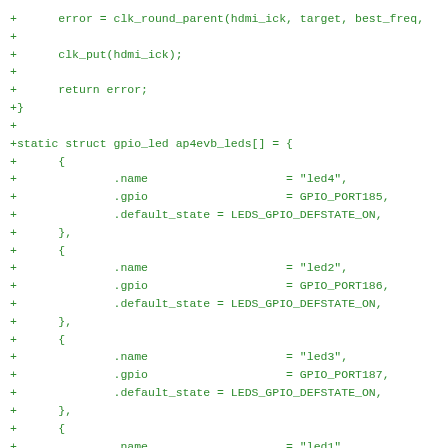+      error = clk_round_parent(hdmi_ick, target, best_freq,
+
+      clk_put(hdmi_ick);
+
+      return error;
+}
+
+static struct gpio_led ap4evb_leds[] = {
+      {
+              .name                    = "led4",
+              .gpio                    = GPIO_PORT185,
+              .default_state = LEDS_GPIO_DEFSTATE_ON,
+      },
+      {
+              .name                    = "led2",
+              .gpio                    = GPIO_PORT186,
+              .default_state = LEDS_GPIO_DEFSTATE_ON,
+      },
+      {
+              .name                    = "led3",
+              .gpio                    = GPIO_PORT187,
+              .default_state = LEDS_GPIO_DEFSTATE_ON,
+      },
+      {
+              .name                    = "led1",